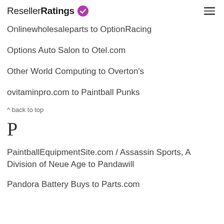ResellerRatings
Onlinewholesaleparts to OptionRacing
Options Auto Salon to Otel.com
Other World Computing to Overton's
ovitaminpro.com to Paintball Punks
^ back to top
P
PaintballEquipmentSite.com / Assassin Sports, A Division of Neue Age to Pandawill
Pandora Battery Buys to Parts.com